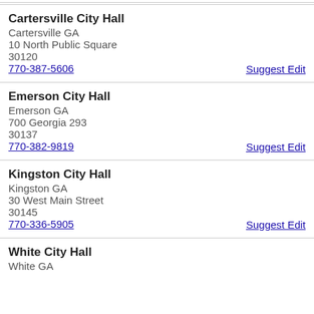Cartersville City Hall
Cartersville GA
10 North Public Square
30120
770-387-5606
Suggest Edit
Emerson City Hall
Emerson GA
700 Georgia 293
30137
770-382-9819
Suggest Edit
Kingston City Hall
Kingston GA
30 West Main Street
30145
770-336-5905
Suggest Edit
White City Hall
White GA